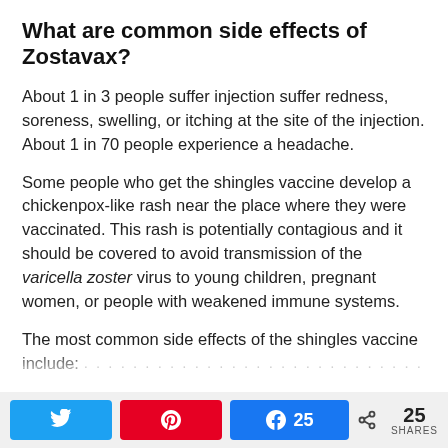What are common side effects of Zostavax?
About 1 in 3 people suffer injection suffer redness, soreness, swelling, or itching at the site of the injection. About 1 in 70 people experience a headache.
Some people who get the shingles vaccine develop a chickenpox-like rash near the place where they were vaccinated. This rash is potentially contagious and it should be covered to avoid transmission of the varicella zoster virus to young children, pregnant women, or people with weakened immune systems.
The most common side effects of the shingles vaccine include: